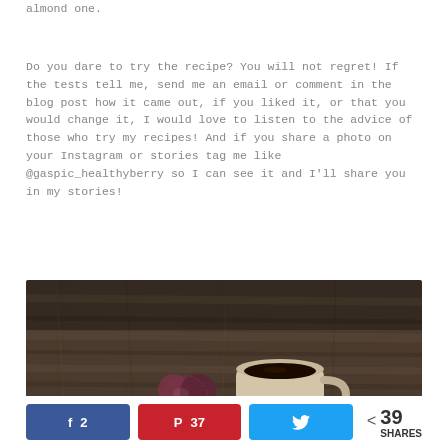almond one.
Do you dare to try the recipe? You will not regret! If the tests tell me, send me an email or comment in the blog post how it came out, if you liked it, or that you would change it, I would love to listen to the advice of those who try my recipes! And if you share a photo on your Instagram or stories tag me like @gaspic_healthyberry so I can see it and I'll share you in my stories!
[Figure (photo): A cup of dark coffee on a wooden table surface, with what appears to be a berry or chocolate dessert item beside it.]
2  37  39 SHARES